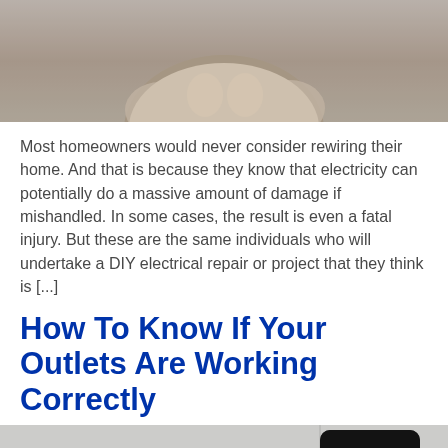[Figure (photo): Top portion of a photo showing hands working with electrical wiring or a device, with skin/flesh tones visible]
Most homeowners would never consider rewiring their home. And that is because they know that electricity can potentially do a massive amount of damage if mishandled. In some cases, the result is even a fatal injury. But these are the same individuals who will undertake a DIY electrical repair or project that they think is [...]
How To Know If Your Outlets Are Working Correctly
[Figure (photo): Photo of an electrical outlet (white, with two slots) and a black electrical plug being inserted, on a light gray background]